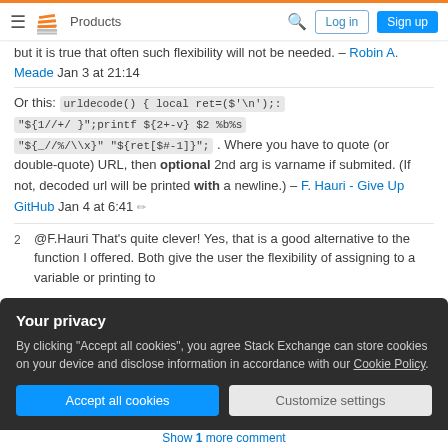Stack Overflow — Products | Log in | Sign up
but it is true that often such flexibility will not be needed. – Robin A. Meade Jan 3 at 21:14
Or this: urldecode() { local ret=($'\n');: "${1//+/ }";printf ${2+-v} $2 %b%s "${_//%/\\x}" "${ret[$#-1]}"; . Where you have to quote (or double-quote) URL, then optional 2nd arg is varname if submited. (If not, decoded url will be printed with a newline.) – F. Hauri - Give Up GitHub Jan 4 at 6:41
2  @F.Hauri That's quite clever! Yes, that is a good alternative to the function I offered. Both give the user the flexibility of assigning to a variable or printing to
Your privacy
By clicking "Accept all cookies", you agree Stack Exchange can store cookies on your device and disclose information in accordance with our Cookie Policy.
Accept all cookies
Customize settings
Show 1 more comment